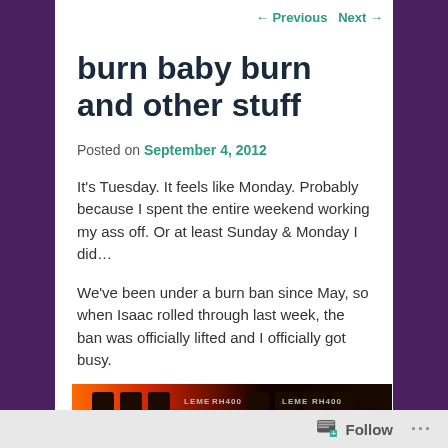← Previous   Next →
burn baby burn and other stuff
Posted on September 4, 2012
It's Tuesday. It feels like Monday. Probably because I spent the entire weekend working my ass off. Or at least Sunday & Monday I did…
We've been under a burn ban since May, so when Isaac rolled through last week, the ban was officially lifted and I officially got busy.
[Figure (photo): A dark image strip showing what appears to be equipment labels reading LEME and RH400, with an orange/red gradient on the left side.]